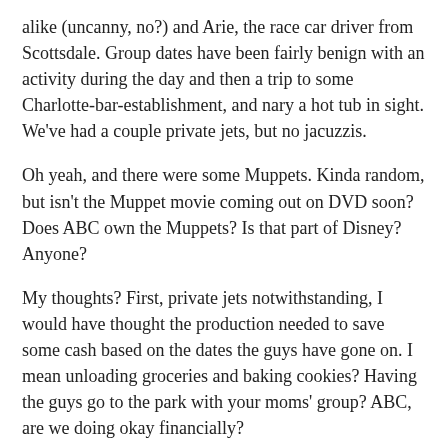alike (uncanny, no?) and Arie, the race car driver from Scottsdale. Group dates have been fairly benign with an activity during the day and then a trip to some Charlotte-bar-establishment, and nary a hot tub in sight. We've had a couple private jets, but no jacuzzis.
Oh yeah, and there were some Muppets. Kinda random, but isn't the Muppet movie coming out on DVD soon? Does ABC own the Muppets? Is that part of Disney? Anyone?
My thoughts? First, private jets notwithstanding, I would have thought the production needed to save some cash based on the dates the guys have gone on. I mean unloading groceries and baking cookies? Having the guys go to the park with your moms' group? ABC, are we doing okay financially?
Which leads me to my next thought: these dates would never work for anyone but Emily as the Bachelorette. Could you imagine if poor Ashley tried to pull the "empty the groceries from my car" move during her season? Half the guys would have left. And the interrogation by the moms (at a park!) would have spelled certain death for just about